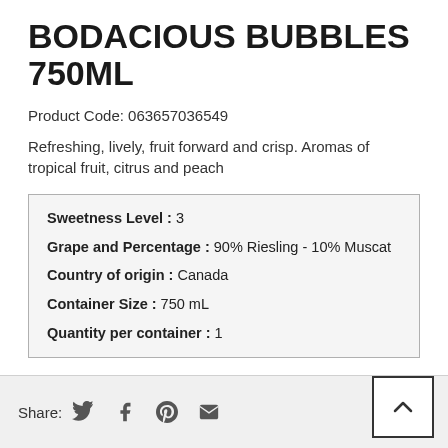BODACIOUS BUBBLES 750ML
Product Code: 063657036549
Refreshing, lively, fruit forward and crisp. Aromas of tropical fruit, citrus and peach
| Sweetness Level : | 3 |
| Grape and Percentage : | 90% Riesling - 10% Muscat |
| Country of origin : | Canada |
| Container Size : | 750 mL |
| Quantity per container : | 1 |
Share: